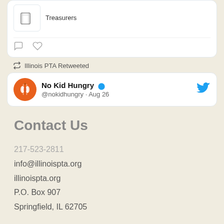[Figure (screenshot): Twitter/social media card showing a book icon and the word Treasurers, with comment and like icons below]
Illinois PTA Retweeted
[Figure (screenshot): Twitter profile card for No Kid Hungry @nokidhungry · Aug 26 with orange apple-core avatar and blue Twitter bird icon]
Contact Us
217-523-2811
info@illinoispta.org
illinoispta.org
P.O. Box 907
Springfield, IL 62705